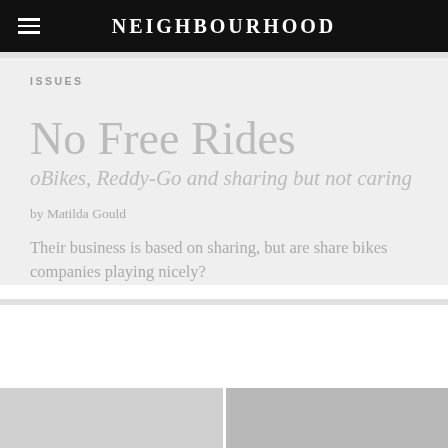NEIGHBOURHOOD
ISSUES
No Free Rides
oBikes, Reddy-Go and sharing but not caring
by Matilda Gould
Their business is based on sharing, but are share bikes companies playing nicely?
[Figure (photo): Black and white photograph strip at the bottom of the page showing urban/city scenes]